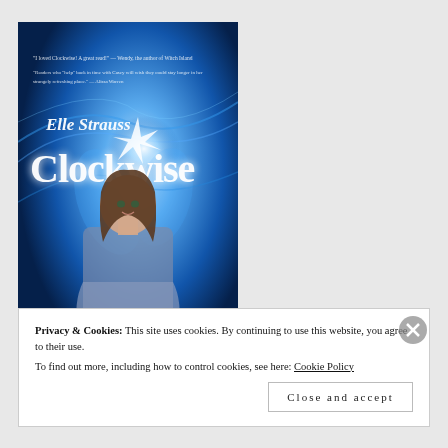[Figure (illustration): Book cover for 'Clockwise' by Elle Strauss. Blue swirling background with bright light burst in center. A teenage girl with long brown hair holds a pocket watch in her cupped hands. White stylized text reads 'Elle Strauss' at top and 'Clockwise' in large decorative font. Two review blurbs in small white text at top.]
Privacy & Cookies: This site uses cookies. By continuing to use this website, you agree to their use.
To find out more, including how to control cookies, see here: Cookie Policy
Close and accept